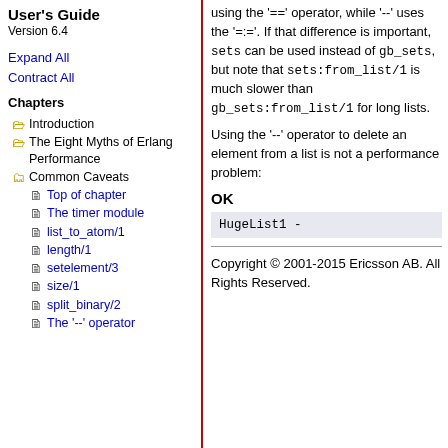User's Guide
Version 6.4
Expand All
Contract All
Chapters
Introduction
The Eight Myths of Erlang Performance
Common Caveats
Top of chapter
The timer module
list_to_atom/1
length/1
setelement/3
size/1
split_binary/2
The '--' operator
using the '==' operator, while '--' uses the '=:='. If that difference is important, sets can be used instead of gb_sets, but note that sets:from_list/1 is much slower than gb_sets:from_list/1 for long lists.

Using the '--' operator to delete an element from a list is not a performance problem:
OK
HugeList1 -
Copyright © 2001-2015 Ericsson AB. All Rights Reserved.